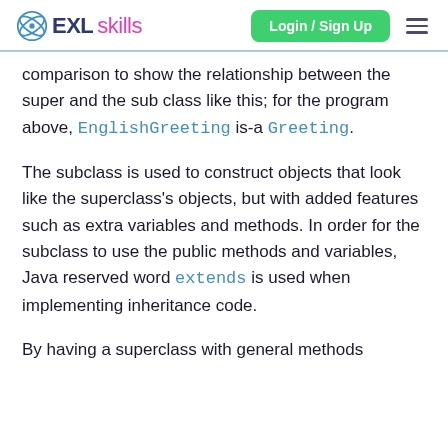EXL skills  Login / Sign Up
comparison to show the relationship between the super and the sub class like this; for the program above, EnglishGreeting is-a Greeting.
The subclass is used to construct objects that look like the superclass's objects, but with added features such as extra variables and methods. In order for the subclass to use the public methods and variables, Java reserved word extends is used when implementing inheritance code.
By having a superclass with general methods and variables that are shared by all the subclasses,